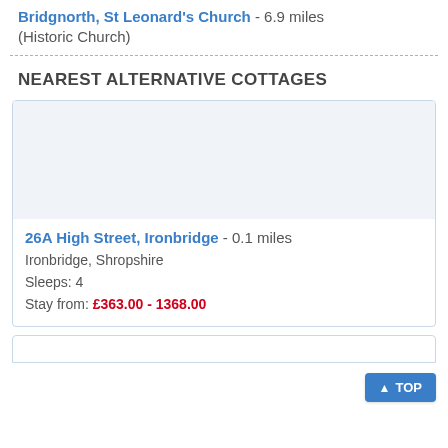Bridgnorth, St Leonard's Church - 6.9 miles (Historic Church)
NEAREST ALTERNATIVE COTTAGES
[Figure (photo): Placeholder image area for cottage listing photo]
26A High Street, Ironbridge - 0.1 miles
Ironbridge, Shropshire
Sleeps: 4
Stay from: £363.00 - 1368.00